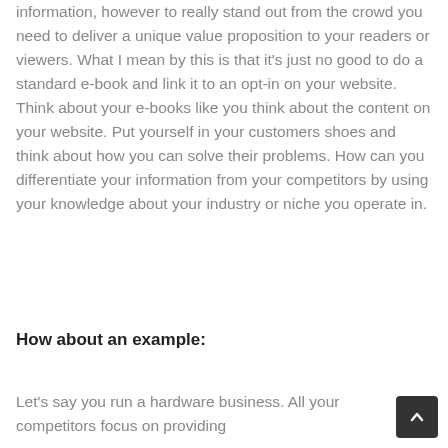information, however to really stand out from the crowd you need to deliver a unique value proposition to your readers or viewers. What I mean by this is that it's just no good to do a standard e-book and link it to an opt-in on your website. Think about your e-books like you think about the content on your website. Put yourself in your customers shoes and think about how you can solve their problems. How can you differentiate your information from your competitors by using your knowledge about your industry or niche you operate in.
How about an example:
Let's say you run a hardware business. All your competitors focus on providing information and differ...